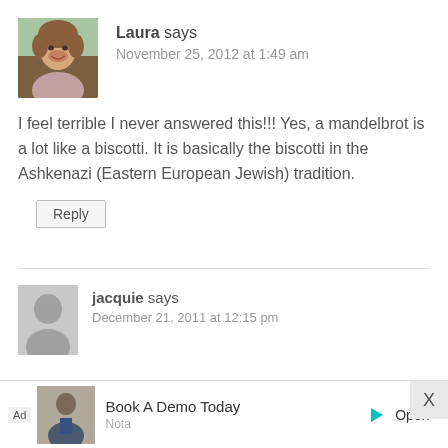[Figure (photo): Profile photo of Laura, a woman with curly light brown hair, smiling]
Laura says
November 25, 2012 at 1:49 am
I feel terrible I never answered this!!! Yes, a mandelbrot is a lot like a biscotti. It is basically the biscotti in the Ashkenazi (Eastern European Jewish) tradition.
Reply
[Figure (photo): Default user avatar silhouette icon in grey]
jacquie says
December 21, 2011 at 12:15 pm
Ad  Book A Demo Today  Nota  Open